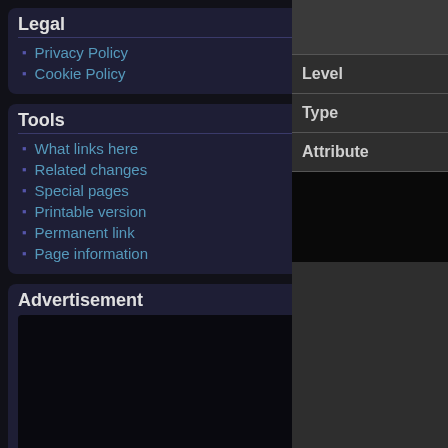Legal
Privacy Policy
Cookie Policy
Tools
What links here
Related changes
Special pages
Printable version
Permanent link
Page information
Advertisement
Quartzmon's power source, from the data it has absorbed. Quartzmon's true form is at the very top, and can act independently of the Great Evil Globe, and furthermore, it is also capable of altering its appearance. It wants the data of the entire world, and Digimon are completely engulfed and absorbed by it as well. Its Special Move is emitting the Gypt Particles generated within the Great Evil Globe into its entire surroundings (Gypt